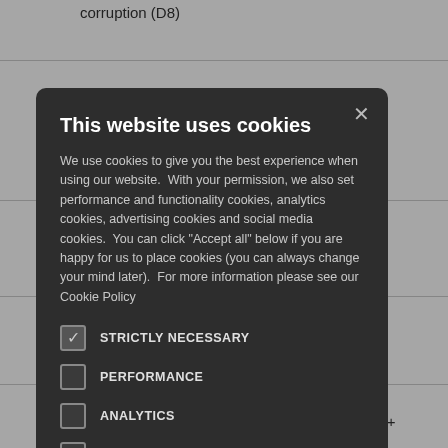corruption (D8)
ness partners
orruption (D4)
ctive
ne anti-
o for anti-
[Figure (screenshot): Cookie consent modal dialog overlay on a document page. Dark rounded-rectangle modal with title 'This website uses cookies', body text about cookie permissions, and five checkbox rows: STRICTLY NECESSARY (checked), PERFORMANCE (unchecked), ANALYTICS (unchecked), FUNCTIONALITY (unchecked), SOCIAL MEDIA (unchecked). An X close button appears in the top-right of the modal.]
ng the anti-
ing
mployees (B5 +
D8)